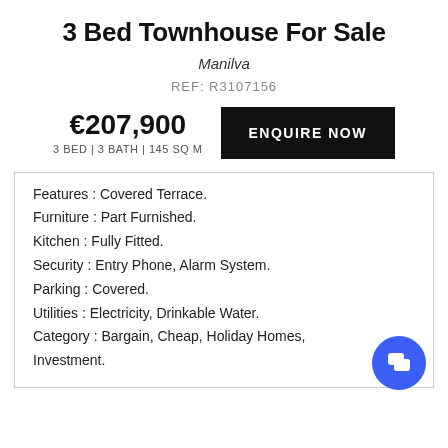3 Bed Townhouse For Sale
Manilva
REF: R3107156
€207,900
3 BED | 3 BATH | 145 SQ M
ENQUIRE NOW
Features : Covered Terrace.
Furniture : Part Furnished.
Kitchen : Fully Fitted.
Security : Entry Phone, Alarm System.
Parking : Covered.
Utilities : Electricity, Drinkable Water.
Category : Bargain, Cheap, Holiday Homes, Investment.